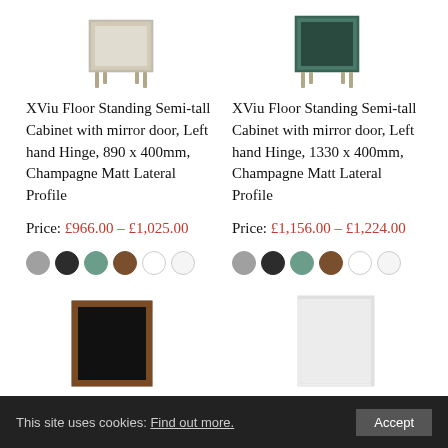[Figure (photo): XViu Floor Standing Semi-tall Cabinet product image - left hand variant, 890mm, seen from above with grey/beige finish and metal legs]
[Figure (photo): XViu Floor Standing Semi-tall Cabinet product image - left hand variant, 1330mm, seen from above with dark green finish and metal legs]
XViu Floor Standing Semi-tall Cabinet with mirror door, Left hand Hinge, 890 x 400mm, Champagne Matt Lateral Profile
XViu Floor Standing Semi-tall Cabinet with mirror door, Left hand Hinge, 1330 x 400mm, Champagne Matt Lateral Profile
Price: £966.00 – £1,025.00
Price: £1,156.00 – £1,224.00
[Figure (photo): Color swatches for left product: gray, dark, green, brown, white, off-white]
[Figure (photo): Color swatches for right product: gray, dark, green, brown, white, off-white]
[Figure (photo): Bottom left product image - cabinet with brown wood frame and dark interior]
[Figure (photo): Bottom right product image - white cabinet]
This site uses cookies: Find out more.  Accept